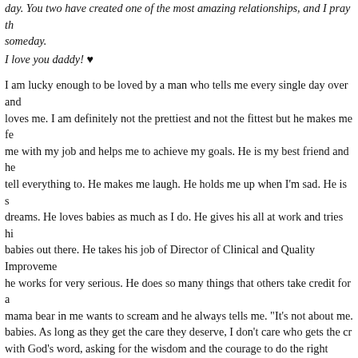day. You two have created one of the most amazing relationships, and I pray th someday.
I love you daddy! ♥
I am lucky enough to be loved by a man who tells me every single day over and loves me. I am definitely not the prettiest and not the fittest but he makes me fe me with my job and helps me to achieve my goals.  He is my best friend and he tell everything to.  He makes me laugh.  He holds me up when I'm sad.  He is s dreams.  He loves babies as much as I do.  He gives his all at work and tries hi babies out there.  He takes his job of Director of Clinical and Quality Improveme he works for very serious.  He does so many things that others take credit for a mama bear in me wants to scream and he always tells me. "It's not about me.  babies.  As long as they get the care they deserve, I don't care who gets the cr with God's word, asking for the wisdom and the courage to do the right thing.  H talk to parents because he knows what it's like to be on the other side.  He is so people miss his funny side and assume that he is quiet and reserved. I often jo could be a comedian.  I love to watch him with our kids.  I love how they run to hug them tight. I love how he nicknames them all and let's them know just how are.  I love how he knows that his job is their salvation first and for them to find
I just want to put it all in writing for him.  I love him so much.  We have been ma have been some of the hardest times but they have always been the best of ti my side, holding my hand, and trusting a God with a plan that we might not alw